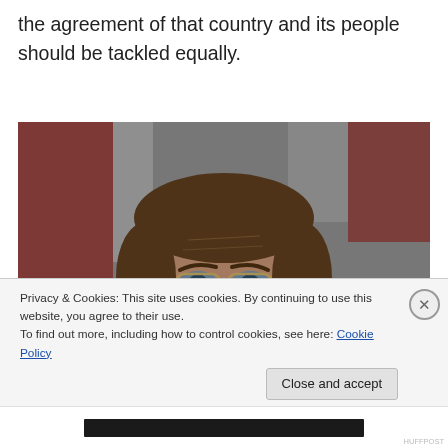the agreement of that country and its people should be tackled equally.
[Figure (photo): Close-up portrait of a middle-aged man with glasses, a beard, and dark jacket, against a red and white background banner.]
Privacy & Cookies: This site uses cookies. By continuing to use this website, you agree to their use.
To find out more, including how to control cookies, see here: Cookie Policy
Close and accept